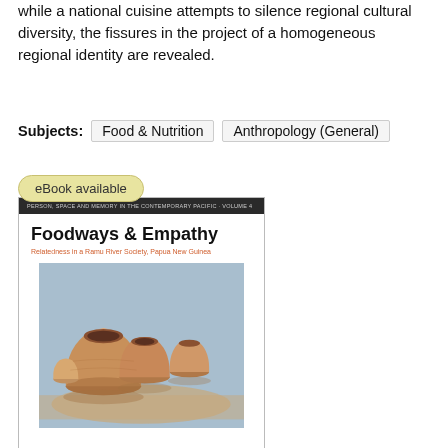while a national cuisine attempts to silence regional cultural diversity, the fissures in the project of a homogeneous regional identity are revealed.
Subjects: Food & Nutrition   Anthropology (General)
[Figure (illustration): Book cover for 'Foodways & Empathy: Relatedness in a Ramu River Society, Papua New Guinea' by Anita von Poser. Part of 'Person, Space and Memory in the Contemporary Pacific - Volume 4' series. Cover shows clay pots/shells on sandy ground against a light blue background. Has an 'eBook available' badge.]